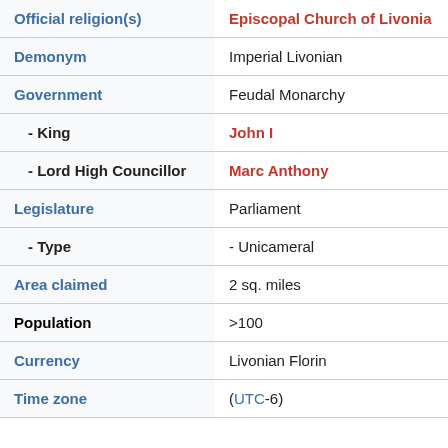| Field | Value |
| --- | --- |
| Official religion(s) | Episcopal Church of Livonia |
| Demonym | Imperial Livonian |
| Government | Feudal Monarchy |
| - King | John I |
| - Lord High Councillor | Marc Anthony |
| Legislature | Parliament |
| - Type | - Unicameral |
| Area claimed | 2 sq. miles |
| Population | >100 |
| Currency | Livonian Florin |
| Time zone | (UTC-6) |